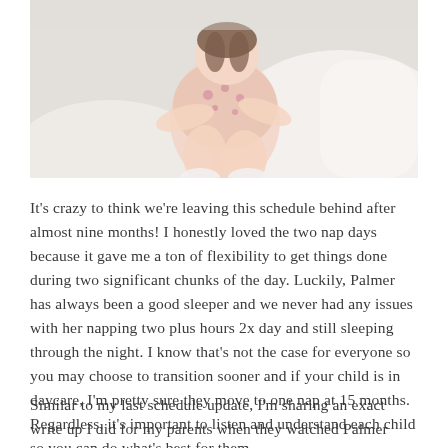[Figure (photo): Photograph of a young child sitting, wearing a floral outfit, with light background and soft tones.]
It's crazy to think we're leaving this schedule behind after almost nine months! I honestly loved the two nap days because it gave me a ton of flexibility to get things done during two significant chunks of the day. Luckily, Palmer has always been a good sleeper and we never had any issues with her napping two plus hours 2x day and still sleeping through the night. I know that's not the case for everyone so you may choose to transition sooner and if your child is in daycare, I'm pretty sure they move to one nap at 15 months. Regardless, it's important to listen and understand each child so you can do what's best for them.
Similar to my last schedule update, I'm sharing an exact write up I did for my parents when they watched Palmer while Kevin and